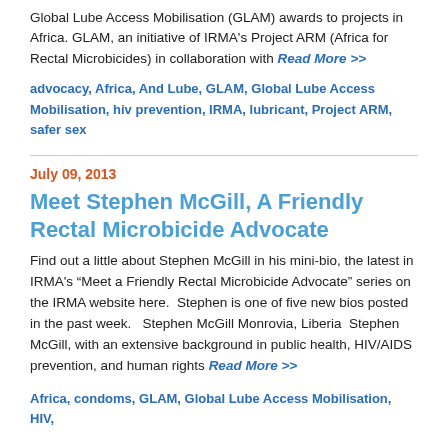Global Lube Access Mobilisation (GLAM) awards to projects in Africa. GLAM, an initiative of IRMA's Project ARM (Africa for Rectal Microbicides) in collaboration with Read More >>
advocacy, Africa, And Lube, GLAM, Global Lube Access Mobilisation, hiv prevention, IRMA, lubricant, Project ARM, safer sex
July 09, 2013
Meet Stephen McGill, A Friendly Rectal Microbicide Advocate
Find out a little about Stephen McGill in his mini-bio, the latest in IRMA's "Meet a Friendly Rectal Microbicide Advocate" series on the IRMA website here.  Stephen is one of five new bios posted in the past week.   Stephen McGill Monrovia, Liberia  Stephen McGill, with an extensive background in public health, HIV/AIDS prevention, and human rights Read More >>
Africa, condoms, GLAM, Global Lube Access Mobilisation, HIV,